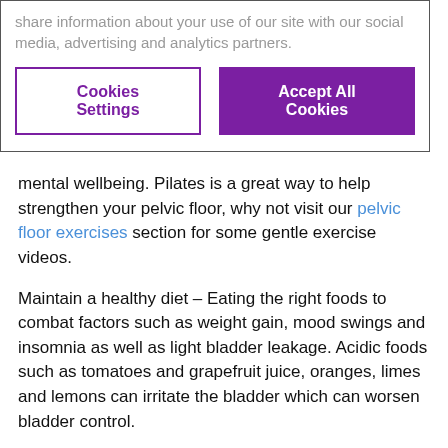share information about your use of our site with our social media, advertising and analytics partners.
Cookies Settings | Accept All Cookies
mental wellbeing. Pilates is a great way to help strengthen your pelvic floor, why not visit our pelvic floor exercises section for some gentle exercise videos.
Maintain a healthy diet – Eating the right foods to combat factors such as weight gain, mood swings and insomnia as well as light bladder leakage. Acidic foods such as tomatoes and grapefruit juice, oranges, limes and lemons can irritate the bladder which can worsen bladder control.
Be positive – menopause is just another challenge in life that you can beat. Staying positive and empowering yourself is essential. There are going to be many benefits once menopause is over so focus on the positives such as increased freedom, embrace new life challenges, if you can beat menopause you can do anything and don't forget to